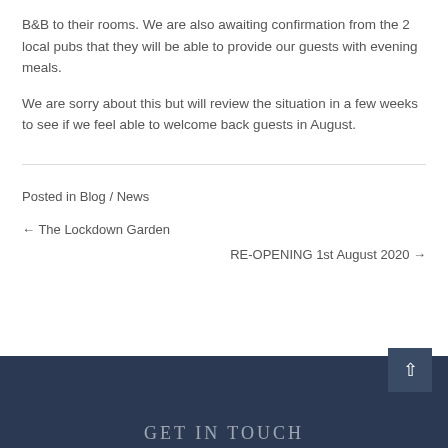B&B to their rooms. We are also awaiting confirmation from the 2 local pubs that they will be able to provide our guests with evening meals.
We are sorry about this but will review the situation in a few weeks to see if we feel able to welcome back guests in August.
Posted in Blog / News
← The Lockdown Garden
RE-OPENING 1st August 2020 →
GET IN TOUCH